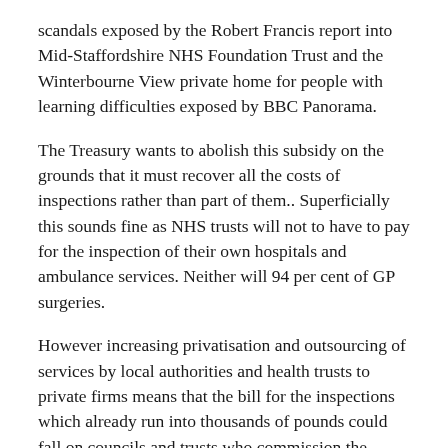scandals exposed by the Robert Francis report into Mid-Staffordshire NHS Foundation Trust and the Winterbourne View private home for people with learning difficulties exposed by BBC Panorama.
The Treasury wants to abolish this subsidy on the grounds that it must recover all the costs of inspections rather than part of them.. Superficially this sounds fine as NHS trusts will not to have to pay for the inspection of their own hospitals and ambulance services. Neither will 94 per cent of GP surgeries.
However increasing privatisation and outsourcing of services by local authorities and health trusts to private firms means that the bill for the inspections which already run into thousands of pounds could fall on councils and trusts who commission the services.
The paper reveals that 90 per cent of care services are already privatised and privatisation is increasing in the